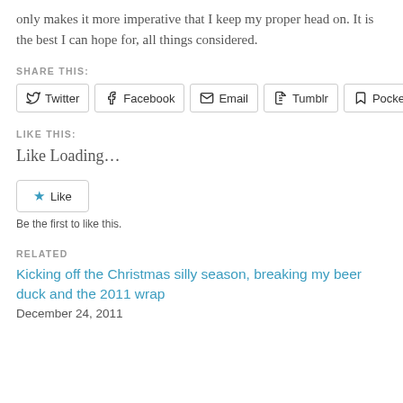only makes it more imperative that I keep my proper head on. It is the best I can hope for, all things considered.
SHARE THIS:
Twitter  Facebook  Email  Tumblr  Pocket
LIKE THIS:
Like Loading…
★ Like
Be the first to like this.
RELATED
Kicking off the Christmas silly season, breaking my beer duck and the 2011 wrap
December 24, 2011